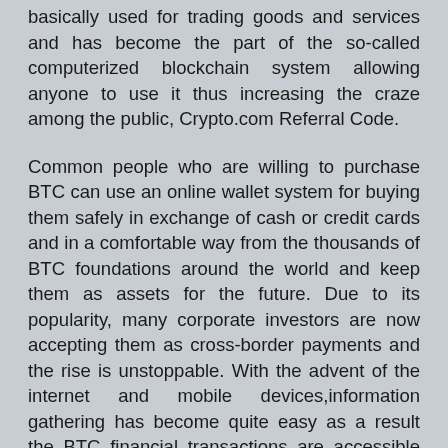basically used for trading goods and services and has become the part of the so-called computerized blockchain system allowing anyone to use it thus increasing the craze among the public, Crypto.com Referral Code.
Common people who are willing to purchase BTC can use an online wallet system for buying them safely in exchange of cash or credit cards and in a comfortable way from the thousands of BTC foundations around the world and keep them as assets for the future. Due to its popularity, many corporate investors are now accepting them as cross-border payments and the rise is unstoppable. With the advent of the internet and mobile devices,information gathering has become quite easy as a result the BTC financial transactions are accessible and its price is set in accordance with people's choice and preferences thus leading to a profitable investment with Crypto.com Referral Code. Recent surveys have also proved that instability is good for BTC exchange as if there is instability and political unrest in the country due to which banks suffer then investing in BTC can surely be a better option